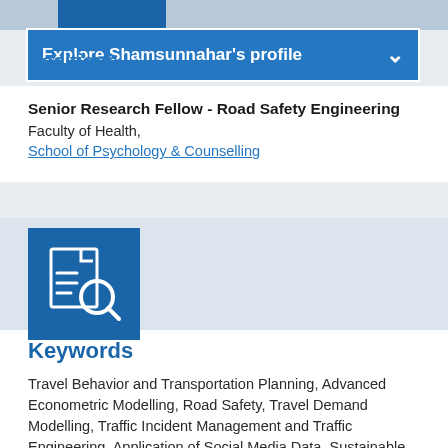Explore Shamsunnahar's profile
Positions
Senior Research Fellow - Road Safety Engineering
Faculty of Health,
School of Psychology & Counselling
[Figure (illustration): Blue square icon with a document and magnifying glass symbol]
Keywords
Travel Behavior and Transportation Planning, Advanced Econometric Modelling, Road Safety, Travel Demand Modelling, Traffic Incident Management and Traffic Engineering, Application of Social Media Data, Sustainable Urban Transportation, Multimodal mobility, Shared economy